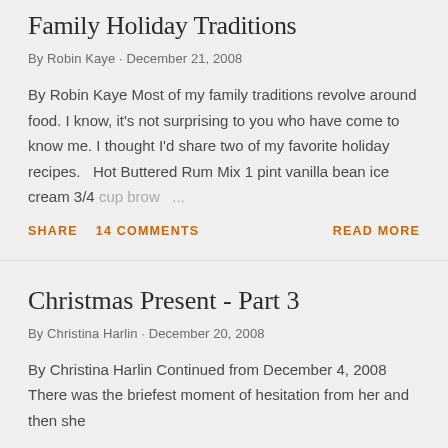Family Holiday Traditions
By Robin Kaye · December 21, 2008
By Robin Kaye Most of my family traditions revolve around food. I know, it's not surprising to you who have come to know me. I thought I'd share two of my favorite holiday recipes.   Hot Buttered Rum Mix 1 pint vanilla bean ice cream 3/4 cup brow ...
SHARE   14 COMMENTS   READ MORE
Christmas Present - Part 3
By Christina Harlin · December 20, 2008
By Christina Harlin Continued from December 4, 2008 There was the briefest moment of hesitation from her and then she